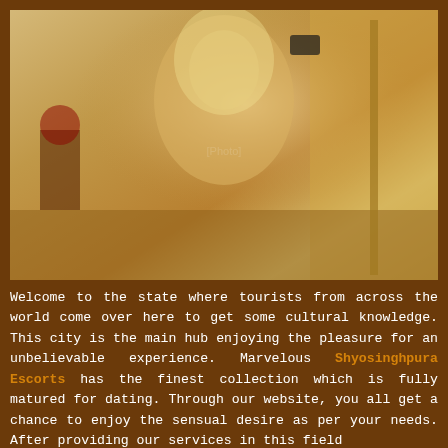[Figure (photo): A blonde woman in white lingerie taking a mirror selfie with a camera in a hotel room setting]
Welcome to the state where tourists from across the world come over here to get some cultural knowledge. This city is the main hub enjoying the pleasure for an unbelievable experience. Marvelous Shyosinghpura Escorts has the finest collection which is fully matured for dating. Through our website, you all get a chance to enjoy the sensual desire as per your needs. After providing our services in this field